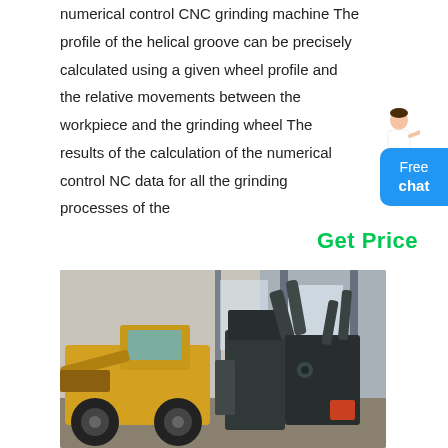numerical control CNC grinding machine The profile of the helical groove can be precisely calculated using a given wheel profile and the relative movements between the workpiece and the grinding wheel The results of the calculation of the numerical control NC data for all the grinding processes of the
Get Price
[Figure (photo): Industrial facility interior showing a yellow front-end loader/wheel loader on the left side and large dark-colored industrial grinding or milling machinery on the right side, inside a warehouse with metal pillars and corrugated metal walls.]